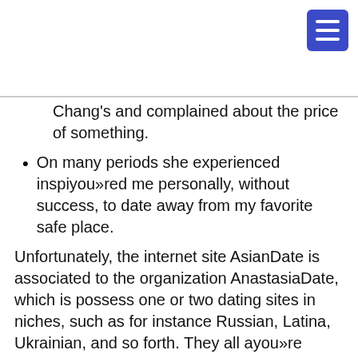Chang's and complained about the price of something.
On many periods she experienced inspiyou»red me personally, without success, to date away from my favorite safe place.
Unfortunately, the internet site AsianDate is associated to the organization AnastasiaDate, which is possess one or two dating sites in niches, such as for instance Russian, Latina, Ukrainian, and so forth. They all ayou»re actually was in fact operating on the same concept with the scamming the customers for many dime you will get because their cyou»reation. AnastasiaDate was located in inside Ny, and happens to be proven from inside the 1993 because an united states person and his Ukrainian girlfriend. The business enterprise is actually promoted a few